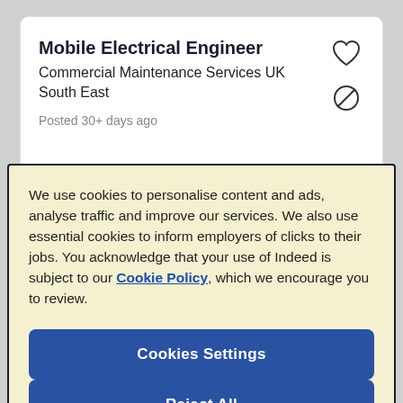Mobile Electrical Engineer
Commercial Maintenance Services UK
South East
Posted 30+ days ago
We use cookies to personalise content and ads, analyse traffic and improve our services. We also use essential cookies to inform employers of clicks to their jobs. You acknowledge that your use of Indeed is subject to our Cookie Policy, which we encourage you to review.
Cookies Settings
Reject All
Accept All Cookies